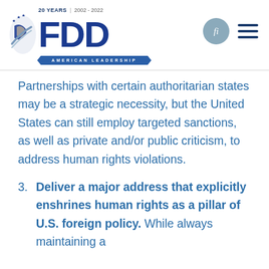[Figure (logo): FDD (Foundation for Defense of Democracies) logo with eagle/flag emblem, '20 YEARS | 2002 - 2022' text, large 'FDD' letters in navy blue, and 'AMERICAN LEADERSHIP' banner below]
Partnerships with certain authoritarian states may be a strategic necessity, but the United States can still employ targeted sanctions, as well as private and/or public criticism, to address human rights violations.
3. Deliver a major address that explicitly enshrines human rights as a pillar of U.S. foreign policy. While always maintaining a